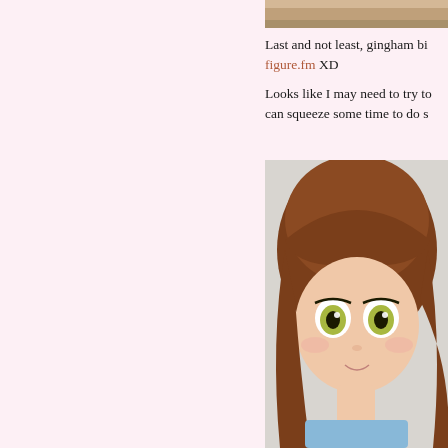[Figure (photo): Top portion of a photo cropped at the top of the page on the right side, showing a light brown or beige background.]
Last and not least, gingham bi... figure.fm XD
Looks like I may need to try to... can squeeze some time to do s...
[Figure (photo): Close-up photo of an anime-style doll (Smart Doll or similar) with brown hair, large yellow-green eyes, and a subtle smile, on a light gray background.]